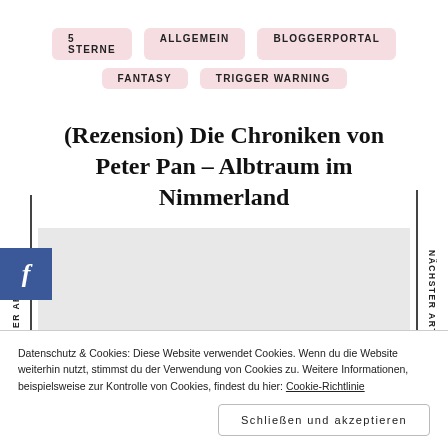5 STERNE | ALLGEMEIN | BLOGGERPORTAL | FANTASY | TRIGGER WARNING
(Rezension) Die Chroniken von Peter Pan – Albtraum im Nimmerland
VORHER ARTIKEL
NÄCHSTER ARTIKEL
Datenschutz & Cookies: Diese Website verwendet Cookies. Wenn du die Website weiterhin nutzt, stimmst du der Verwendung von Cookies zu. Weitere Informationen, beispielsweise zur Kontrolle von Cookies, findest du hier: Cookie-Richtlinie
Schließen und akzeptieren